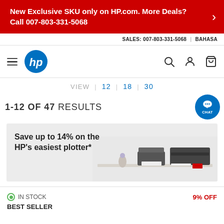New Exclusive SKU only on HP.com. More Deals? Call 007-803-331-5068
SALES: 007-803-331-5068 | BAHASA
[Figure (logo): HP logo in blue circle, hamburger menu, search, user, and cart icons in navigation bar]
VIEW | 12 | 18 | 30
1-12 OF 47 RESULTS
[Figure (photo): HP promotional banner showing large format plotters/printers on a desk with text 'Save up to 14% on the HP's easiest plotter*']
IN STOCK
9% OFF
BEST SELLER